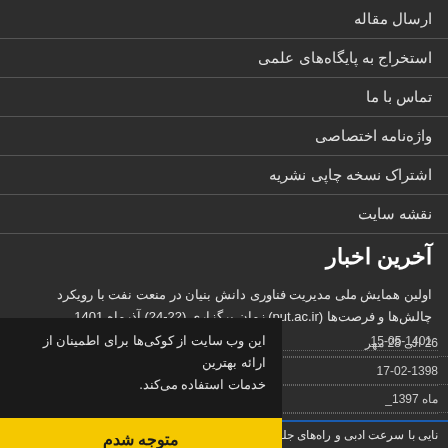ارسال مقاله
استخراج به پایگاه‌های علمی
تماس با ما
واژه‌نامه اختصاصی
اشتراک نسخه چاپی نشریه
نقشه سایت
آخرین اخبار
اولین همایش ملی مدیریت فناوری دانش بنیان در منعت نفت با رویکرد چالش‌ها و فرصت‌ها (put.ac.ir) زمان برگزاری (22-24) آذرماه 1401
15-05-1401
این وب سایت از کوکی‌ها برای اطمینان از ارائه بهترین خدمات استفاده می‌کند.
متوجه شدم
26 الی 28 مهر
17-02-1398
ماه 1397_
2
نایی با سرعت ادبی و راه‌های جلوگیری از آن 1395-07-10